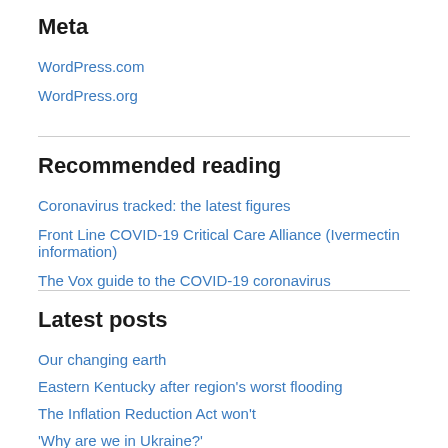Meta
WordPress.com
WordPress.org
Recommended reading
Coronavirus tracked: the latest figures
Front Line COVID-19 Critical Care Alliance (Ivermectin information)
The Vox guide to the COVID-19 coronavirus
Latest posts
Our changing earth
Eastern Kentucky after region's worst flooding
The Inflation Reduction Act won't
'Why are we in Ukraine?'
Suppose Russia wins – what happens next?
Jumping rope as an extreme sport